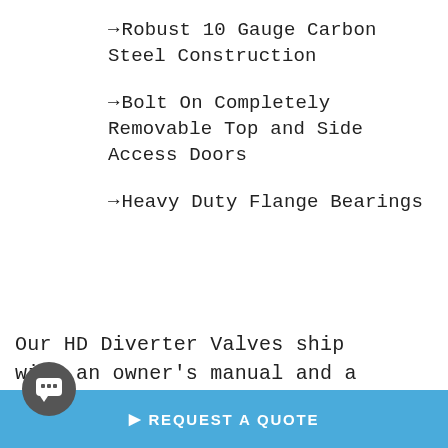→Robust 10 Gauge Carbon Steel Construction
→Bolt On Completely Removable Top and Side Access Doors
→Heavy Duty Flange Bearings
Our HD Diverter Valves ship with an owner's manual and a suggested replacement parts list. We stock our entire inventory of replacement parts at all times. In most cases, parts are delivered the next day.
▶ REQUEST A QUOTE